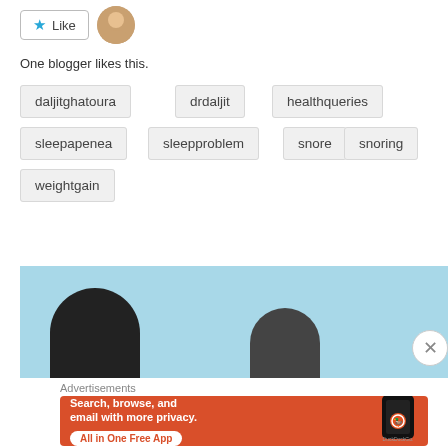[Figure (other): Like button with star icon and avatar photo of a woman]
One blogger likes this.
daljitghatoura
drdaljit
healthqueries
sleepapenea
sleepproblem
snore
snoring
weightgain
[Figure (photo): Cropped photo of two people heads against a light blue background]
Advertisements
[Figure (other): DuckDuckGo advertisement banner: Search, browse, and email with more privacy. All in One Free App. Shows a phone graphic and DuckDuckGo logo.]